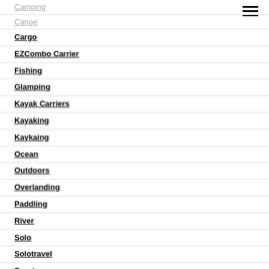Camping
Canoe
Cargo
EZCombo Carrier
Fishing
Glamping
Kayak Carriers
Kayaking
Kaykaing
Ocean
Outdoors
Overlanding
Paddling
River
Solo
Solotravel
Sport
Travel